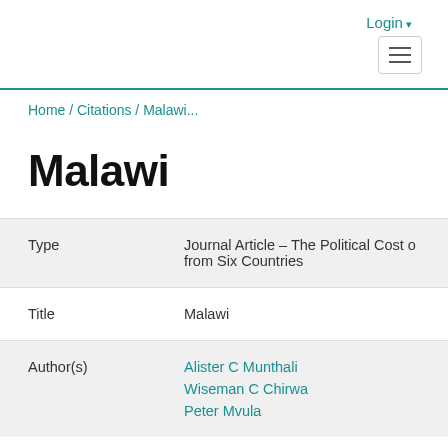Login
Home / Citations / Malawi...
Malawi
| Field | Value |
| --- | --- |
| Type | Journal Article - The Political Cost of from Six Countries |
| Title | Malawi |
| Author(s) | Alister C Munthali
Wiseman C Chirwa
Peter Mvula |